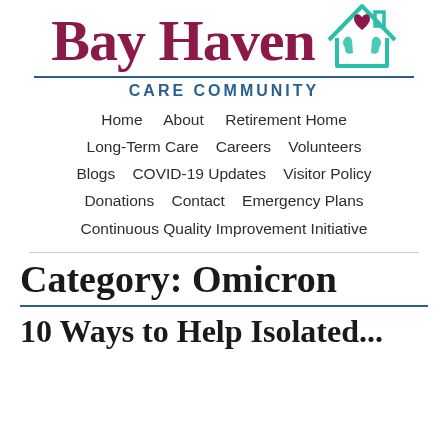[Figure (logo): Bay Haven Care Community logo with teal house icon containing a heart and hands, and large dark red serif text 'Bay Haven' with blue 'CARE COMMUNITY' below a blue horizontal rule]
Home    About    Retirement Home    Long-Term Care    Careers    Volunteers    Blogs    COVID-19 Updates    Visitor Policy    Donations    Contact    Emergency Plans    Continuous Quality Improvement Initiative
Category: Omicron
10 Ways to Help Isolated...